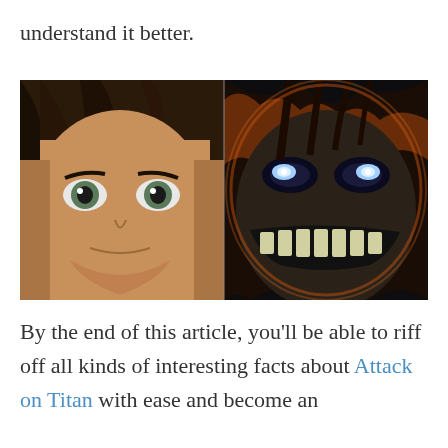understand it better.
[Figure (illustration): Two side-by-side anime screenshots from Attack on Titan: left shows a close-up of a determined young male character's face (Eren Yeager), right shows a terrifying Titan face with glowing eyes and exposed teeth surrounded by dark flames/energy.]
By the end of this article, you'll be able to riff off all kinds of interesting facts about Attack on Titan with ease and become an